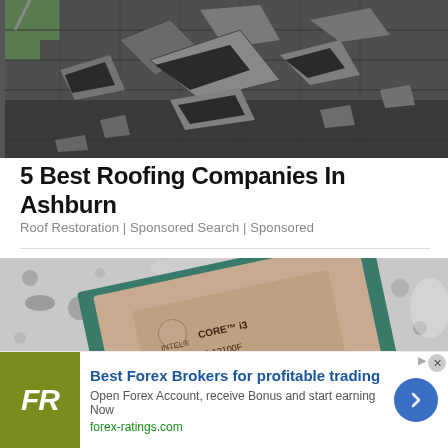[Figure (photo): Damaged roof with broken and lifted asphalt shingles, viewed from above]
5 Best Roofing Companies In Ashburn
Roof Restoration | Sponsored Search | Sponsored
[Figure (photo): Intel Core i3-12100F CPU chip resting on a granite surface, close-up view showing chip markings]
[Figure (infographic): Advertisement banner: Best Forex Brokers for profitable trading. FR logo in olive green. Open Forex Account, receive Bonus and start earning Now. forex-ratings.com]